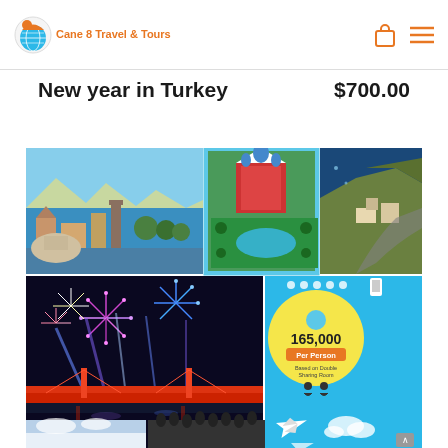Cane 8 Travel & Tours
New year in Turkey
$700.00
[Figure (photo): Travel collage showing Turkish landmarks, hotel aerial view, coastal cliffs, New Year fireworks over a bridge, an infographic with '165,000 Per Person Based on Double Sharing Room' pricing, and airplanes on a blue background.]